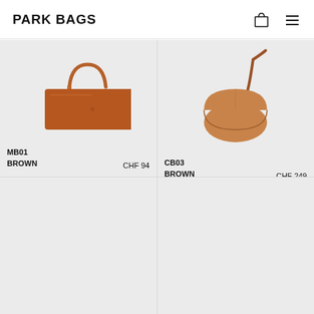PARK BAGS
[Figure (photo): Brown leather shoulder bag (MB01 BROWN) on light grey background]
MB01
BROWN    CHF 94
[Figure (photo): Brown leather crossbody saddle bag (CB03 BROWN) with long strap on light grey background]
CB03
BROWN    CHF 249
[Figure (photo): Empty product cell bottom-left]
[Figure (photo): Empty product cell bottom-right]